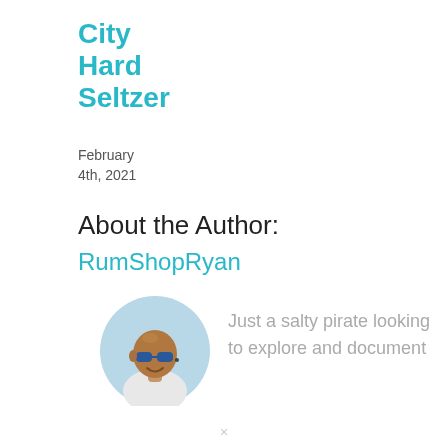City Hard Seltzer
February 4th, 2021
About the Author:
RumShopRyan
[Figure (photo): Circular avatar photo of a bald man wearing sunglasses and a white shirt, smiling.]
Just a salty pirate looking to explore and document
×